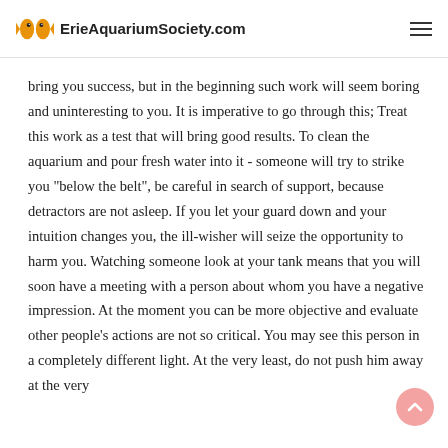ErieAquariumSociety.com
bring you success, but in the beginning such work will seem boring and uninteresting to you. It is imperative to go through this; Treat this work as a test that will bring good results. To clean the aquarium and pour fresh water into it - someone will try to strike you "below the belt", be careful in search of support, because detractors are not asleep. If you let your guard down and your intuition changes you, the ill-wisher will seize the opportunity to harm you. Watching someone look at your tank means that you will soon have a meeting with a person about whom you have a negative impression. At the moment you can be more objective and evaluate other people's actions are not so critical. You may see this person in a completely different light. At the very least, do not push him away at the very